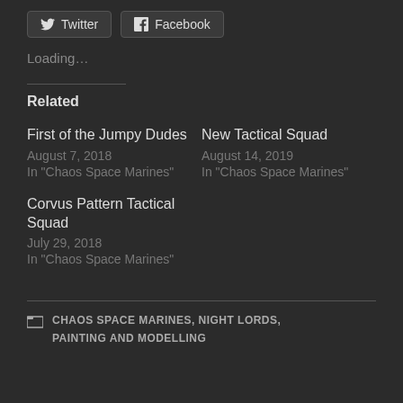[Figure (other): Twitter and Facebook social share buttons]
Loading…
Related
First of the Jumpy Dudes
August 7, 2018
In "Chaos Space Marines"
New Tactical Squad
August 14, 2019
In "Chaos Space Marines"
Corvus Pattern Tactical Squad
July 29, 2018
In "Chaos Space Marines"
CHAOS SPACE MARINES, NIGHT LORDS, PAINTING AND MODELLING